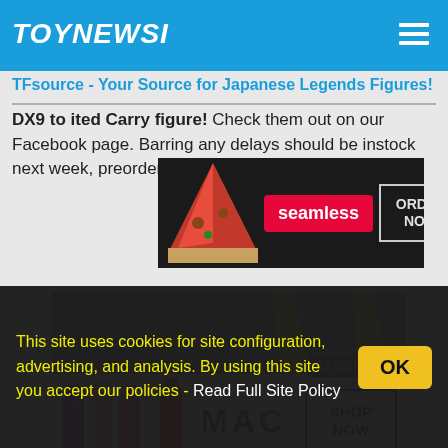TOYNEWSI
TFsource - Your Source for Japanese Legends Figures!
[Figure (photo): Seamless food delivery advertisement banner showing pizza slices with 'seamless' logo and 'ORDER NOW' button]
DX9 to … ited Carry figure! Check them out on our Facebook page. Barring any delays should be instock next week, preorder yours here:
[Figure (photo): Product image area showing toy figures with yellow accents, partially visible]
[Figure (photo): MAC cosmetics advertisement showing lipsticks in purple, pink, and red with 'MAC' logo and 'SHOP NOW' button. CLOSE button overlay.]
This site uses cookies for site configuration, advertising, and analysis. By using this site you accept our policies - Read Full Site Policy  OK